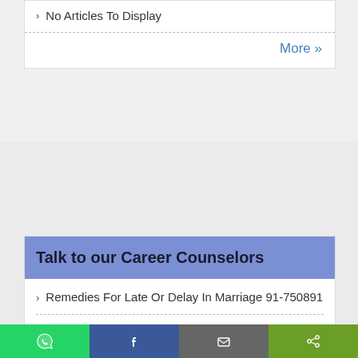No Articles To Display
More »
Talk to our Career Counselors
Remedies For Late Or Delay In Marriage 91-750891
9693488888 Wazifa To Make Enemy Sick In
Share buttons: WhatsApp, Facebook, Email, Share